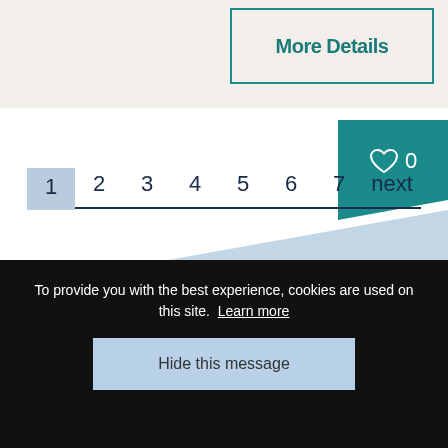More Details
[Figure (infographic): Heart/favorites icon with count 0 on teal background]
1  2  3  4  5  6  7  next
[Figure (illustration): Light blue diagonal decorative shape]
To provide you with the best experience, cookies are used on this site.  Learn more
Hide this message